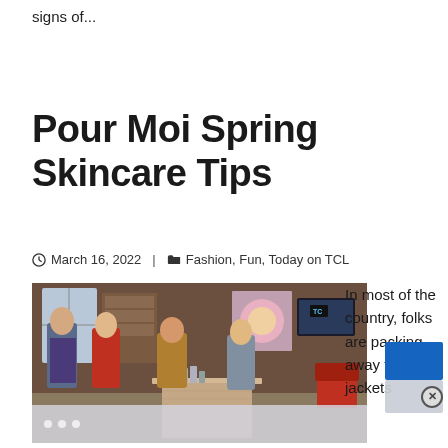signs of...
Pour Moi Spring Skincare Tips
March 16, 2022 | Fashion, Fun, Today on TCL
[Figure (photo): TV show set with three women standing around a table with products; TC logo badge visible in top right of image. Bottom strip shows navigation dots.]
In most of the country, folks are packing away th down jackets